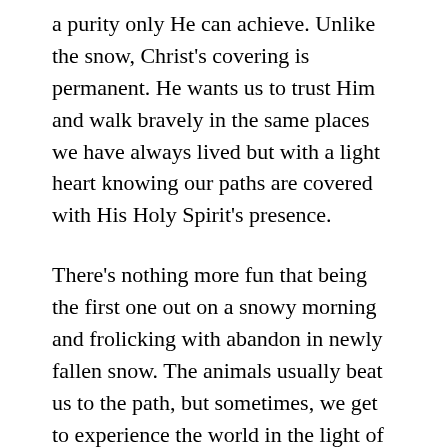a purity only He can achieve. Unlike the snow, Christ's covering is permanent. He wants us to trust Him and walk bravely in the same places we have always lived but with a light heart knowing our paths are covered with His Holy Spirit's presence.
There's nothing more fun that being the first one out on a snowy morning and frolicking with abandon in newly fallen snow. The animals usually beat us to the path, but sometimes, we get to experience the world in the light of the sweet purity of a winter wonderland. If we tune our hearts to God's sweet presence each morning, we can get an even greater sense of wonder without the cold